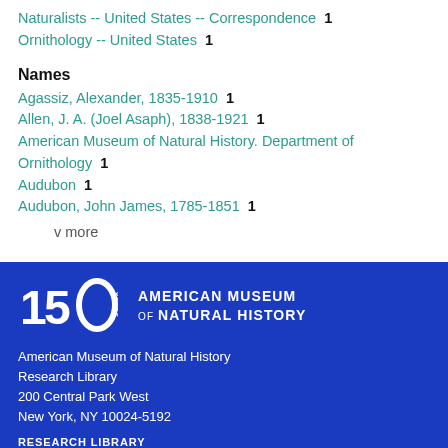Naturalists -- United States -- Correspondence  1
Ornithology -- United States  1
Names
Agassiz, Alexander, 1835-1910  1
Allen, J. A. (Joel Asaph), 1838-1921  1
American Museum of Natural History. Department of Ornithology  1
Audubon  1
Audubon, John James, 1785-1851  1
v more
[Figure (logo): 150 Years American Museum of Natural History logo in white on blue background]
American Museum of Natural History
Research Library
200 Central Park West
New York, NY 10024-5192
RESEARCH LIBRARY